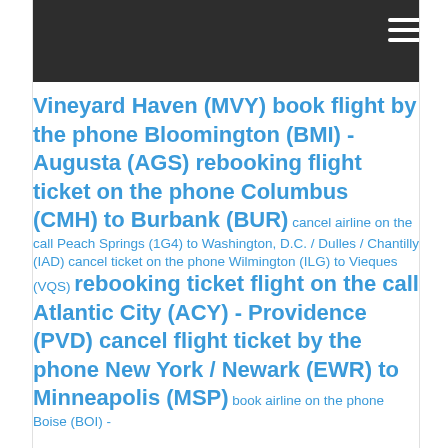Vineyard Haven (MVY) book flight by the phone Bloomington (BMI) - Augusta (AGS) rebooking flight ticket on the phone Columbus (CMH) to Burbank (BUR) cancel airline on the call Peach Springs (1G4) to Washington, D.C. / Dulles / Chantilly (IAD) cancel ticket on the phone Wilmington (ILG) to Vieques (VQS) rebooking ticket flight on the call Atlantic City (ACY) - Providence (PVD) cancel flight ticket by the phone New York / Newark (EWR) to Minneapolis (MSP) book airline on the phone Boise (BOI) -